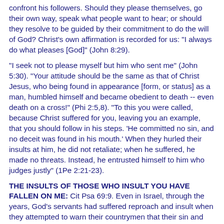confront his followers. Should they please themselves, go their own way, speak what people want to hear; or should they resolve to be guided by their commitment to do the will of God? Christ's own affirmation is recorded for us: "I always do what pleases [God]" (John 8:29).
"I seek not to please myself but him who sent me" (John 5:30). "Your attitude should be the same as that of Christ Jesus, who being found in appearance [form, or status] as a man, humbled himself and became obedient to death -- even death on a cross!" (Phi 2:5,8). "To this you were called, because Christ suffered for you, leaving you an example, that you should follow in his steps. 'He committed no sin, and no deceit was found in his mouth.' When they hurled their insults at him, he did not retaliate; when he suffered, he made no threats. Instead, he entrusted himself to him who judges justly" (1Pe 2:21-23).
THE INSULTS OF THOSE WHO INSULT YOU HAVE FALLEN ON ME: Cit Psa 69:9. Even in Israel, through the years, God's servants had suffered reproach and insult when they attempted to warn their countrymen that their sin and rebellion were inviting the judgment of God. The first half of Psa 69:9 is quoted in John 2:17 in connection with the cleansing of the temple: "Zeal for your house will consume me." To take up the cause of God fervently is to arouse the passions of sinful men.
In Christ we can see the difference between a people pleaser and a people lover. Sacrificing His own preferences for the welfare of